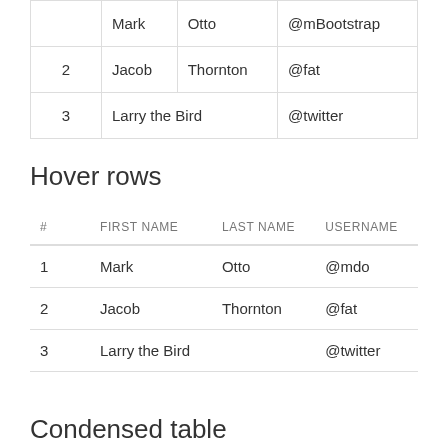| # | FIRST NAME | LAST NAME | USERNAME |
| --- | --- | --- | --- |
|  | Mark | Otto | @mBootstrap |
| 2 | Jacob | Thornton | @fat |
| 3 | Larry the Bird |  | @twitter |
Hover rows
| # | FIRST NAME | LAST NAME | USERNAME |
| --- | --- | --- | --- |
| 1 | Mark | Otto | @mdo |
| 2 | Jacob | Thornton | @fat |
| 3 | Larry the Bird |  | @twitter |
Condensed table
| # | FIRST NAME | LAST NAME | USERNAME ↑ |
| --- | --- | --- | --- |